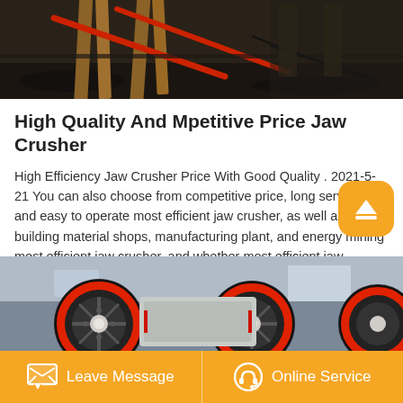[Figure (photo): Industrial machinery photo showing metal beams and red poles/braces in a dark workshop environment]
High Quality And Mpetitive Price Jaw Crusher
High Efficiency Jaw Crusher Price With Good Quality . 2021-5-21 You can also choose from competitive price, long service life, and easy to operate most efficient jaw crusher, as well as from building material shops, manufacturing plant, and energy mining most efficient jaw crusher, and whether most efficient jaw crusher is 1 year. Alibaba offers 4,768 high quality jaw crusher price products.
[Figure (photo): Industrial jaw crusher machinery showing large red and black flywheel/pulley wheels in a factory setting]
Leave Message   Online Service